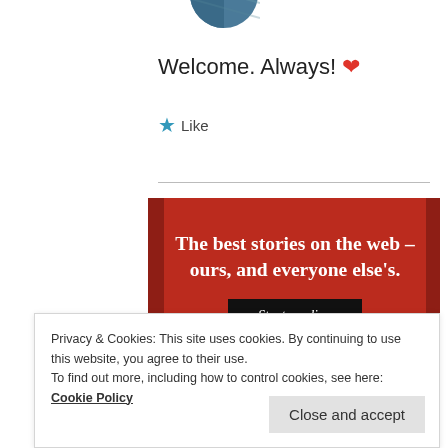[Figure (photo): Partial circular profile photo cropped at top of page]
Welcome. Always! ❤
★ Like
[Figure (infographic): Red banner advertisement with white serif text reading 'The best stories on the web – ours, and everyone else's.' and a black 'Start reading' button]
Privacy & Cookies: This site uses cookies. By continuing to use this website, you agree to their use.
To find out more, including how to control cookies, see here: Cookie Policy
Close and accept